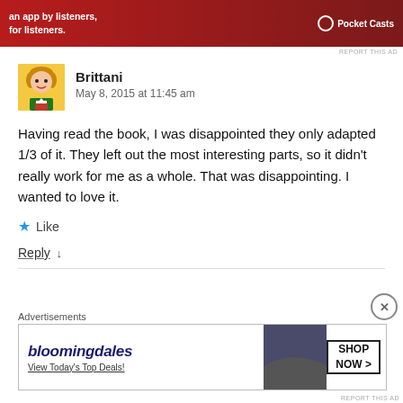[Figure (other): Red advertisement banner for Pocket Casts app with text 'an app by listeners, for listeners.']
REPORT THIS AD
Brittani
May 8, 2015 at 11:45 am
Having read the book, I was disappointed they only adapted 1/3 of it. They left out the most interesting parts, so it didn't really work for me as a whole. That was disappointing. I wanted to love it.
★ Like
Reply ↓
Advertisements
[Figure (other): Bloomingdale's advertisement banner with text 'View Today's Top Deals!' and 'SHOP NOW >' button]